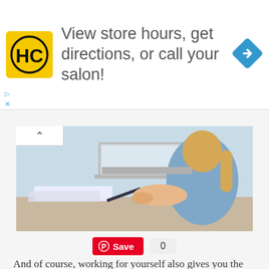[Figure (screenshot): Advertisement banner: HC logo (yellow square with black HC letters), text 'View store hours, get directions, or call your salon!', blue diamond navigation icon on right. Small ad controls (triangle and X) on left side.]
[Figure (photo): Woman in blue shirt sitting at desk working, writing with pen, laptop open in front of her, papers on desk. Blonde hair. Light background.]
[Figure (screenshot): Pinterest Save button (red with P circle icon) and count '0' displayed below photo.]
And of course, working for yourself also gives you the opportunity to make a whole lot more money. This is a great time to explore some internet business ideas, create an alternate source of income to cushion the blow when retirement sneaks up on you. Put differently, being your own boss gives you that valuable